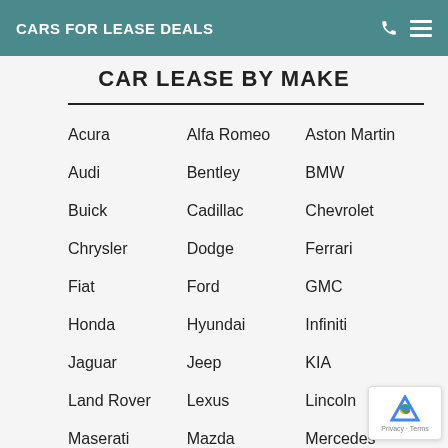CARS FOR LEASE DEALS
CAR LEASE BY MAKE
Acura
Alfa Romeo
Aston Martin
Audi
Bentley
BMW
Buick
Cadillac
Chevrolet
Chrysler
Dodge
Ferrari
Fiat
Ford
GMC
Honda
Hyundai
Infiniti
Jaguar
Jeep
KIA
Land Rover
Lexus
Lincoln
Maserati
Mazda
Mercedes
Mini
Mitsubishi
Nissan
Porsche
Rolls Royce
Smart
Subaru
Toyota
Volkswagen
Volvo
Tesla